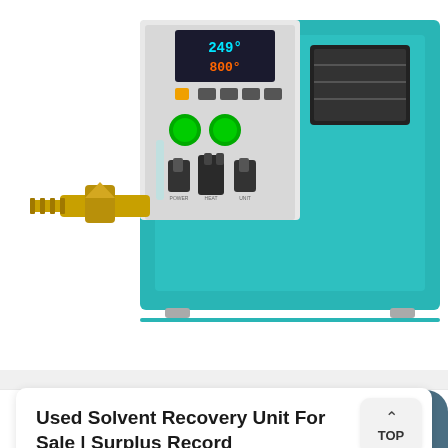[Figure (photo): Photo of a used solvent recovery unit / vacuum drying oven with teal/turquoise cabinet, digital temperature display showing 249°C/800°, green indicator lights, toggle switches, and a brass valve fitting on the left side.]
Used Solvent Recovery Unit For Sale | Surplus Record
The World's Leading Online Marketplace for Used, New, and Surplus Industrial Machinery & Equipment ℠ Machinery & Equipment/Processing Equipment for Chemical, Petroleum and …
Send Message   Inquiry Online